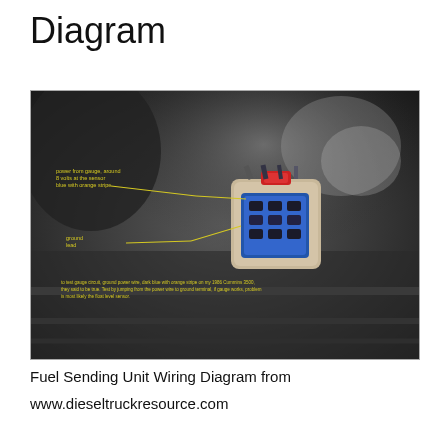Diagram
[Figure (photo): Photograph of a fuel sending unit electrical connector (multi-pin plug with blue housing, beige outer shell, red tab) with yellow annotation lines pointing to labeled wires. Labels include 'power from gauge, around 8 volts at the sensor blue with orange stripe' and 'ground lead'. Bottom annotation text reads: 'to test gauge circuit, ground power wire, dark blue with orange stripe on my 1986 Cummins 3500, they said to be true. Test by jumping from the power wire to ground terminal, if gauge works, problem is most likely the float level sensor.']
Fuel Sending Unit Wiring Diagram from
www.dieseltruckresource.com